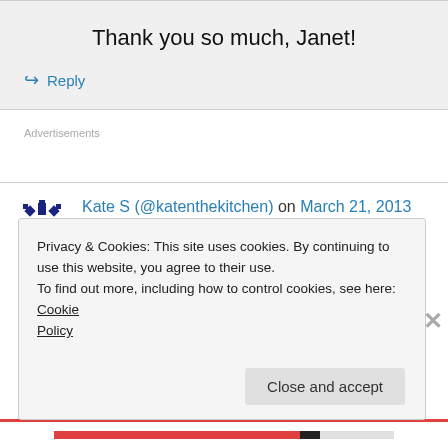Thank you so much, Janet!
↪ Reply
Advertisements
Kate S (@katenthekitchen) on March 21, 2013 at 7:45 am
Privacy & Cookies: This site uses cookies. By continuing to use this website, you agree to their use.
To find out more, including how to control cookies, see here: Cookie Policy
Close and accept